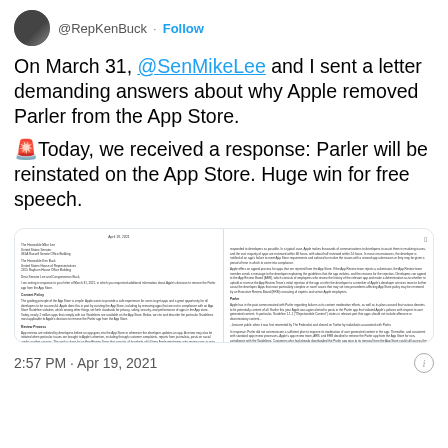@RepKenBuck · Follow
On March 31, @SenMikeLee and I sent a letter demanding answers about why Apple removed Parler from the App Store.
🚨Today, we received a response: Parler will be reinstated on the App Store. Huge win for free speech.
[Figure (screenshot): Image of Apple's letter response dated April 19, 2021, addressing the removal of Parler from the App Store, with two columns of text including sections on Content Policy, Review Process, Parler, and Coordination of Action.]
2:57 PM · Apr 19, 2021